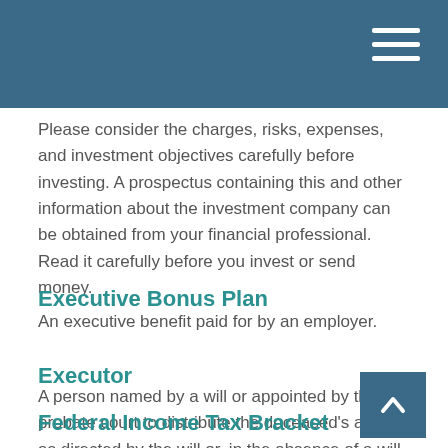Please consider the charges, risks, expenses, and investment objectives carefully before investing. A prospectus containing this and other information about the investment company can be obtained from your financial professional. Read it carefully before you invest or send money.
Executive Bonus Plan
An executive benefit paid for by an employer.
Executor
A person named by a will or appointed by the probate court to distribute the deceased's assets as directed by the will or, in the absence of a will, in accordance with the probate laws of the state.
Federal Income Tax Bracket